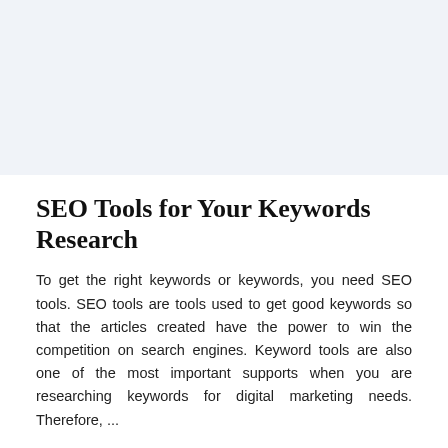[Figure (photo): Light blue-grey placeholder image area at the top of the page]
SEO Tools for Your Keywords Research
To get the right keywords or keywords, you need SEO tools. SEO tools are tools used to get good keywords so that the articles created have the power to win the competition on search engines. Keyword tools are also one of the most important supports when you are researching keywords for digital marketing needs. Therefore, ...
APRIL 14, 2022